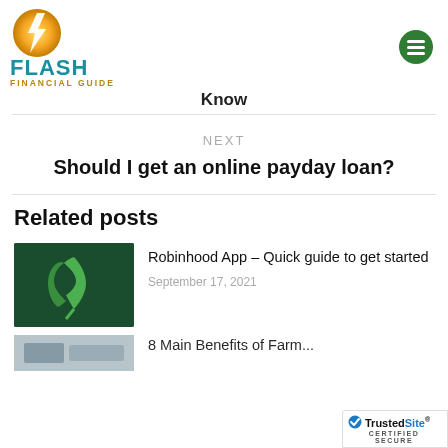Flash Financial Guide
Know
NEXT
Should I get an online payday loan?
Related posts
[Figure (logo): Robinhood app logo - green feather on dark green background]
Robinhood App – Quick guide to get started
September 17, 2021
[Figure (photo): Partial thumbnail for next related post]
8 Main Benefits of Farm...